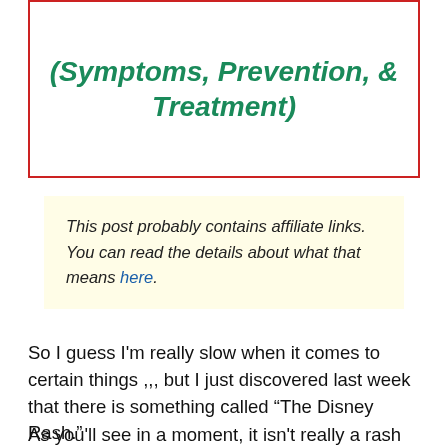(Symptoms, Prevention, & Treatment)
This post probably contains affiliate links. You can read the details about what that means here.
So I guess I'm really slow when it comes to certain things ,,, but I just discovered last week that there is something called “The Disney Rash.”
As you'll see in a moment, it isn't really a rash